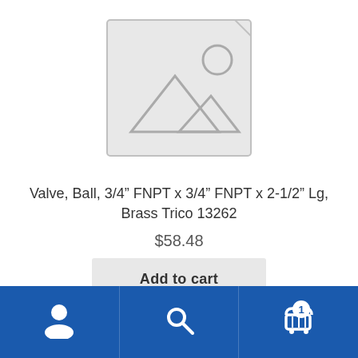[Figure (illustration): Placeholder product image with mountain/landscape icon inside a rounded rectangle]
Valve, Ball, 3/4″ FNPT x 3/4″ FNPT x 2-1/2″ Lg, Brass Trico 13262
$58.48
Add to cart
[Figure (infographic): Bottom navigation bar with user account icon, search icon, and shopping cart icon with badge showing 1 item]